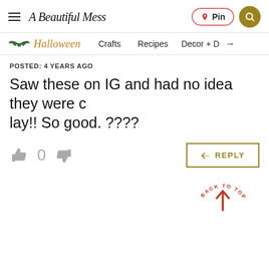A Beautiful Mess — Pin | Search
Halloween | Crafts | Recipes | Decor + →
POSTED: 4 YEARS AGO
Saw these on IG and had no idea they were clay!! So good. ????
👍 0 👎 REPLY
BACK TO TOP ↑